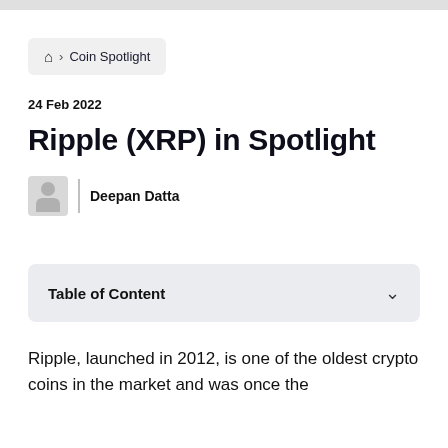🏠 > Coin Spotlight
24 Feb 2022
Ripple (XRP) in Spotlight
Deepan Datta
Table of Content
Ripple, launched in 2012, is one of the oldest crypto coins in the market and was once the